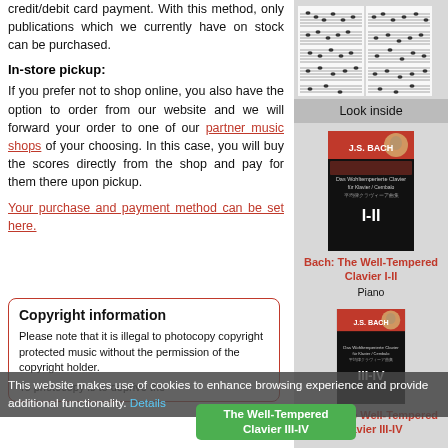credit/debit card payment. With this method, only publications which we currently have on stock can be purchased.
In-store pickup:
If you prefer not to shop online, you also have the option to order from our website and we will forward your order to one of our partner music shops of your choosing. In this case, you will buy the scores directly from the shop and pay for them there upon pickup.
Your purchase and payment method can be set here.
Copyright information
Please note that it is illegal to photocopy copyright protected music without the permission of the copyright holder.
To photocopy is to deprive the
[Figure (other): Sheet music preview thumbnails showing musical notation pages]
Look inside
[Figure (photo): Book cover: Bach: The Well-Tempered Clavier I-II, J.S. Bach, dark cover with portrait]
Bach: The Well-Tempered Clavier I-II
Piano
[Figure (photo): Book cover: Bach: The Well-Tempered Clavier III-IV, J.S. Bach, dark cover with portrait]
Bach: The Well-Tempered Clavier III-IV
This website makes use of cookies to enhance browsing experience and provide additional functionality. Details